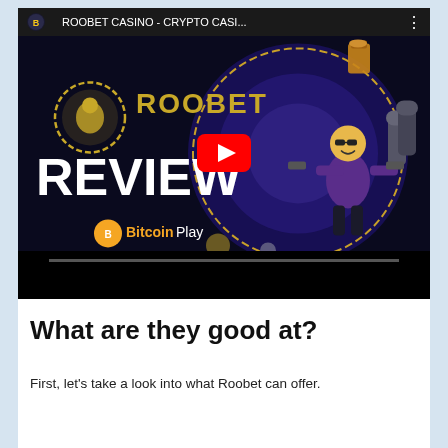[Figure (screenshot): YouTube video thumbnail showing Roobet Casino review. Top bar shows Bitcoin Play logo and title 'ROOBET CASINO - CRYPTO CASI...' with three-dot menu. Thumbnail has black background with dark scene: Roobet logo (gold kangaroo in circle) and 'ROOBET' text, large white text 'REVIEW', 'BitcoinPlay' watermark in yellow/white, an animated purple-dressed character holding guns, and casino-themed items. A red YouTube play button is centered over the thumbnail. Bottom is a black control bar.]
What are they good at?
First, let's take a look into what Roobet can offer.